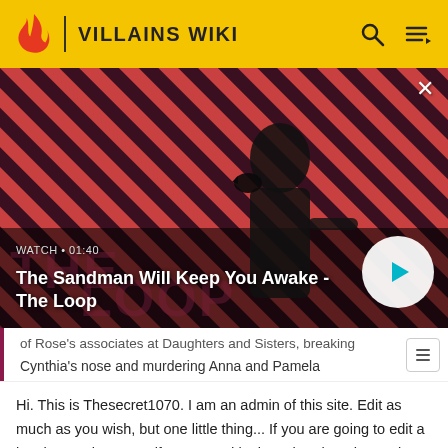VILLAINS WIKI
[Figure (screenshot): Video banner showing a dark-cloaked figure with a raven on shoulder against a striped red/dark background. The Loop series promotional image.]
WATCH • 01:40
The Sandman Will Keep You Awake - The Loop
of Rose's associates at Daughters and Sisters, breaking Cynthia's nose and murdering Anna and Pamela
Hi. This is Thesecret1070. I am an admin of this site. Edit as much as you wish, but one little thing... If you are going to edit a lot, then make yourself a user and login. Other than that, enjoy Villains Wiki!!!